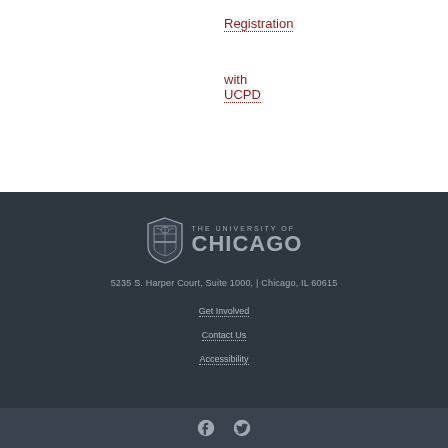Registration
with UCPD
[Figure (logo): The University of Chicago shield logo with text 'THE UNIVERSITY OF CHICAGO']
5235 S. Harper Court, Suite 1000, | Chicago, IL 60615
Get Involved
Contact Us
Accessibility
[Figure (other): Facebook and Twitter social media icons]